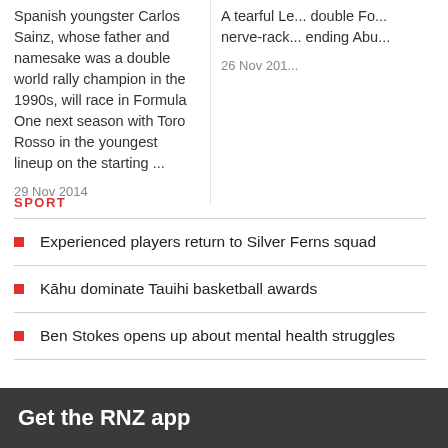Spanish youngster Carlos Sainz, whose father and namesake was a double world rally champion in the 1990s, will race in Formula One next season with Toro Rosso in the youngest lineup on the starting ...
29 Nov 2014
A tearful Le... double Fo... nerve-rack... ending Abu...
26 Nov 201...
SPORT
Experienced players return to Silver Ferns squad
Kāhu dominate Tauihi basketball awards
Ben Stokes opens up about mental health struggles
Get the RNZ app